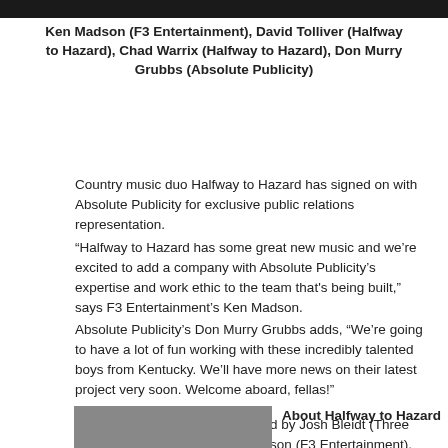[Figure (photo): Dark top image strip showing partial photo of people]
Ken Madson (F3 Entertainment), David Tolliver (Halfway to Hazard), Chad Warrix (Halfway to Hazard), Don Murry Grubbs (Absolute Publicity)
Country music duo Halfway to Hazard has signed on with Absolute Publicity for exclusive public relations representation.
“Halfway to Hazard has some great new music and we’re excited to add a company with Absolute Publicity’s expertise and work ethic to the team that’s being built,” says F3 Entertainment’s Ken Madson.
Absolute Publicity’s Don Murry Grubbs adds, “We’re going to have a lot of fun working with these incredibly talented boys from Kentucky. We’ll have more news on their latest project very soon. Welcome aboard, fellas!”
Halfway to Hazard is co-managed by Josh Bleidt (Three Sheets to the Win) and Ken Madson (F3 Entertainment). Buddy Lee Attractions represents the duo for live bookings.
[Figure (photo): Two men in a photo at bottom left of page]
About Halfway to Hazard